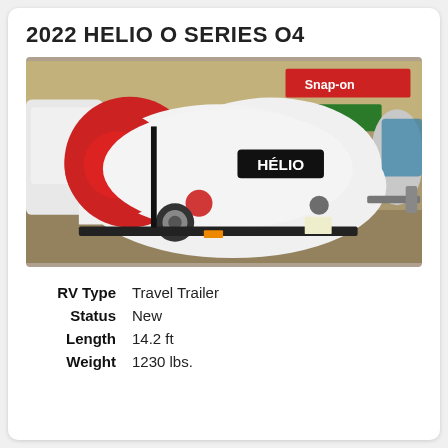2022 HELIO O SERIES O4
[Figure (photo): Photo of a 2022 Helio O Series O4 travel trailer — white teardrop-shaped camper with red circular graphic, HELIO branding on side, parked indoors in a showroom with Snap-on banner visible in background]
| RV Type | Travel Trailer |
| Status | New |
| Length | 14.2 ft |
| Weight | 1230 lbs. |